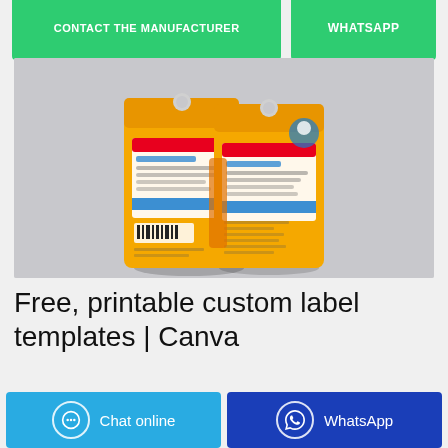CONTACT THE MANUFACTURER   WHATSAPP
[Figure (photo): Two orange plastic laundry detergent powder bags with hang holes, displayed back-to-back on a gray background. The bags feature bright orange packaging with product labels in multiple languages.]
Free, printable custom label templates | Canva
Chat online   WhatsApp